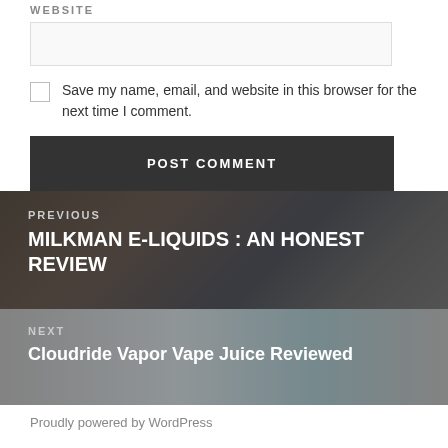WEBSITE
Save my name, email, and website in this browser for the next time I comment.
POST COMMENT
PREVIOUS
MILKMAN E-LIQUIDS : AN HONEST REVIEW
NEXT
Cloudride Vapor Vape Juice Reviewed
Proudly powered by WordPress